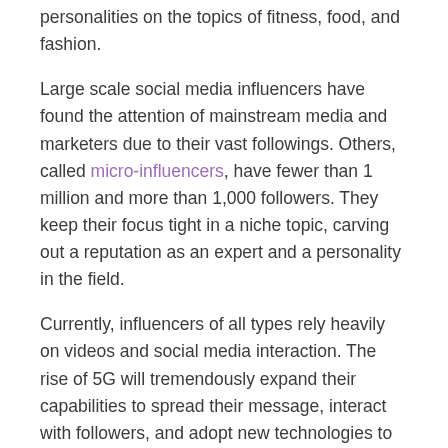personalities on the topics of fitness, food, and fashion.
Large scale social media influencers have found the attention of mainstream media and marketers due to their vast followings. Others, called micro-influencers, have fewer than 1 million and more than 1,000 followers. They keep their focus tight in a niche topic, carving out a reputation as an expert and a personality in the field.
Currently, influencers of all types rely heavily on videos and social media interaction. The rise of 5G will tremendously expand their capabilities to spread their message, interact with followers, and adopt new technologies to their field.
This unpredictability means that those involved in